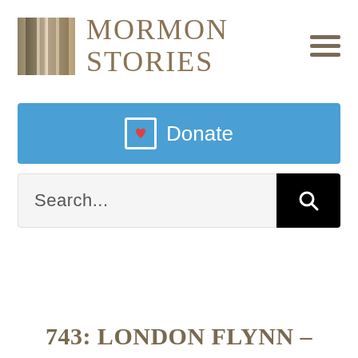[Figure (logo): Mormon Stories logo with golden architectural image and serif text reading MORMON STORIES]
[Figure (other): Hamburger menu icon with three horizontal dark tan bars]
[Figure (other): Blue Donate button with heart-in-bracket icon and white text]
[Figure (other): Search bar with placeholder text 'Search...' and black search button with magnifying glass icon]
743: LONDON FLYNN –